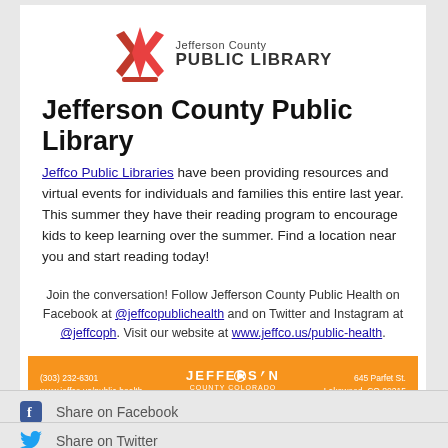[Figure (logo): Jefferson County Public Library logo with red open book icon and text 'Jefferson County PUBLIC LIBRARY']
Jefferson County Public Library
Jeffco Public Libraries have been providing resources and virtual events for individuals and families this entire last year. This summer they have their reading program to encourage kids to keep learning over the summer. Find a location near you and start reading today!
Join the conversation! Follow Jefferson County Public Health on Facebook at @jeffcopublichealth and on Twitter and Instagram at @jeffcoph. Visit our website at www.jeffco.us/public-health.
[Figure (infographic): Orange Jefferson County Colorado Public Health banner with phone number (303) 232-6301, website www.jeffco.us/public-health, Jefferson County Colorado logo in center, and address 645 Parfet St. Lakewood, CO 80215]
Share on Facebook
Share on Twitter